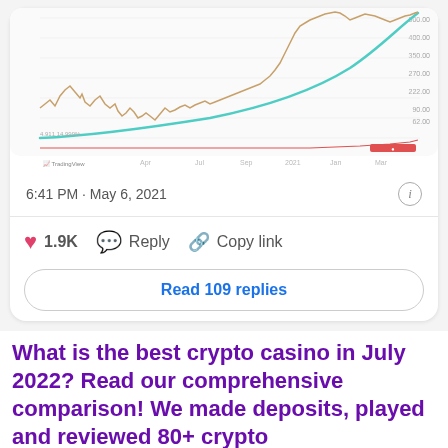[Figure (continuous-plot): A TradingView screenshot showing a cryptocurrency price chart spanning 2020 to 2021, with a candlestick/line chart showing volatile price movement with an exponential upward curve overlay. A flat indicator line appears at the bottom. X-axis shows dates: 2020, Jan, Apr, Jul, Sep, 2021, Jan, Mar, Jul. Y-axis shows price levels up to ~500,000.]
6:41 PM · May 6, 2021
1.9K
Reply
Copy link
Read 109 replies
What is the best crypto casino in July 2022? Read our comprehensive comparison! We made deposits, played and reviewed 80+ crypto
This website uses cookies. By continuing to use this website
TRENDING CRYPTOS
Tamadoge Breaks New Record with Presale Campaign
INVEST NOW